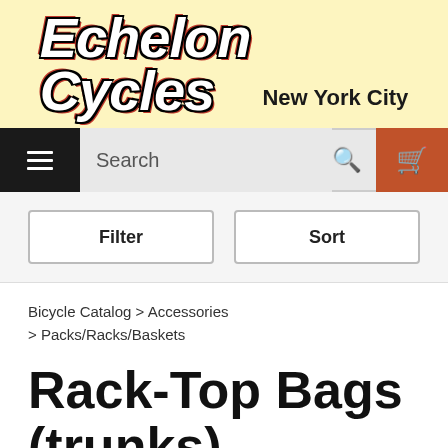[Figure (logo): Echelon Cycles New York City logo on yellow background]
[Figure (screenshot): Navigation bar with hamburger menu, search field, and shopping cart button]
[Figure (screenshot): Filter and Sort buttons bar]
Bicycle Catalog > Accessories > Packs/Racks/Baskets
Rack-Top Bags (trunks)